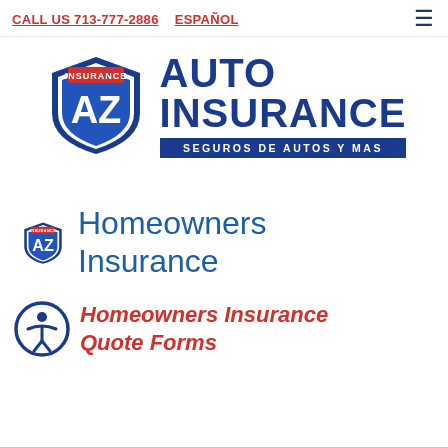CALL US 713-777-2886   ESPAÑOL
[Figure (logo): AZ Auto Insurance logo with shield icon and text 'AUTO INSURANCE SEGUROS DE AUTOS Y MAS']
Homeowners Insurance
Homeowners Insurance Quote Forms